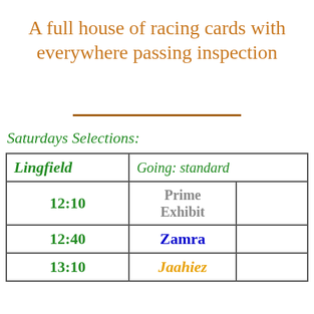A full house of racing cards with everywhere passing inspection
Saturdays Selections:
| Venue | Going |  |
| --- | --- | --- |
| Lingfield | Going:  standard |  |
| 12:10 | Prime Exhibit |  |
| 12:40 | Zamra |  |
| 13:10 | Jaahiez |  |